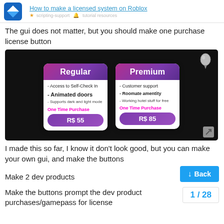How to make a licensed system on Roblox
The gui does not matter, but you should make one purchase license button
[Figure (screenshot): Screenshot of a Roblox game GUI showing two license cards: Regular (R$ 55) and Premium (R$ 85), each with features listed and a 'One Time Purchase' label.]
I made this so far, I know it don't look good, but you can make your own gui, and make the buttons
Make 2 dev products
Make the buttons prompt the dev product purchases/gamepass for license